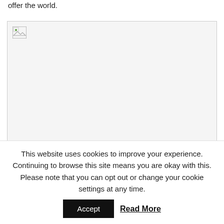offer the world.
[Figure (photo): A broken/missing image placeholder with a small icon in the top-left corner, bordered box with light gray background.]
This website uses cookies to improve your experience. Continuing to browse this site means you are okay with this. Please note that you can opt out or change your cookie settings at any time.